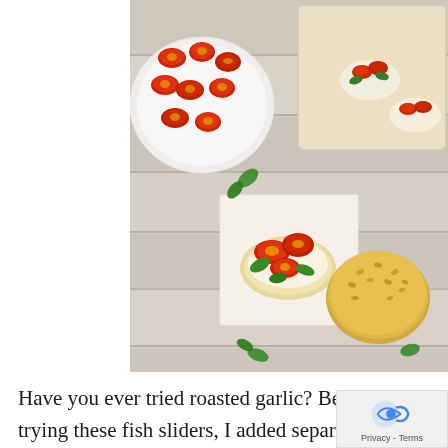[Figure (photo): Overhead food photography showing roasted cherry tomatoes on a white plate, open-faced sliders/bruschetta with tomatoes and basil on a wooden cutting board and parchment paper, a sesame seed bun, all arranged on a rustic white wood plank surface.]
Have you ever tried roasted garlic? Before trying these fish sliders, I added separate unpeeled garlic cloves to my roaseted veggies and they turned out o be the most delicios part of the meal.